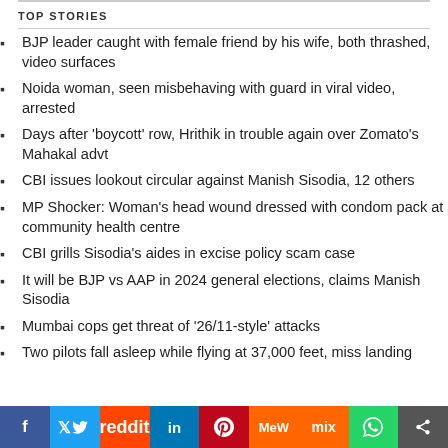TOP STORIES
BJP leader caught with female friend by his wife, both thrashed, video surfaces
Noida woman, seen misbehaving with guard in viral video, arrested
Days after 'boycott' row, Hrithik in trouble again over Zomato's Mahakal advt
CBI issues lookout circular against Manish Sisodia, 12 others
MP Shocker: Woman's head wound dressed with condom pack at community health centre
CBI grills Sisodia's aides in excise policy scam case
It will be BJP vs AAP in 2024 general elections, claims Manish Sisodia
Mumbai cops get threat of '26/11-style' attacks
Two pilots fall asleep while flying at 37,000 feet, miss landing
[Figure (infographic): Social sharing bar with icons: Facebook, Twitter, Reddit, LinkedIn, Pinterest, MeWe, Mix, WhatsApp, Share]